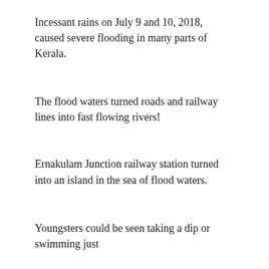Incessant rains on July 9 and 10, 2018, caused severe flooding in many parts of Kerala.
The flood waters turned roads and railway lines into fast flowing rivers!
Ernakulam Junction railway station turned into an island in the sea of flood waters.
Youngsters could be seen taking a dip or swimming just